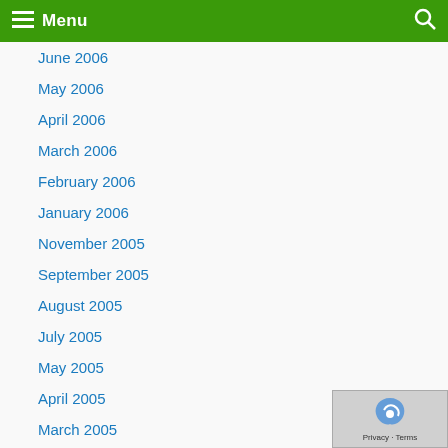Menu
June 2006
May 2006
April 2006
March 2006
February 2006
January 2006
November 2005
September 2005
August 2005
July 2005
May 2005
April 2005
March 2005
February 2005
January 2005